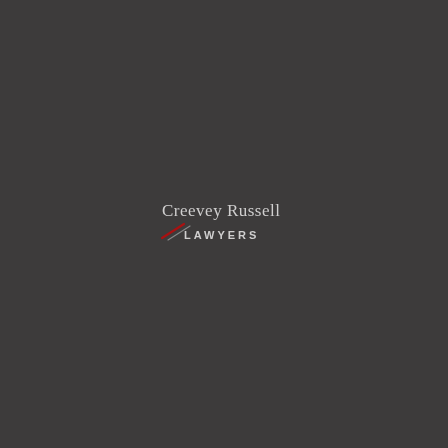[Figure (logo): Creevey Russell Lawyers logo: firm name in serif font with a red diagonal slash mark above 'LAWYERS' in spaced sans-serif capitals, all on a dark charcoal background]